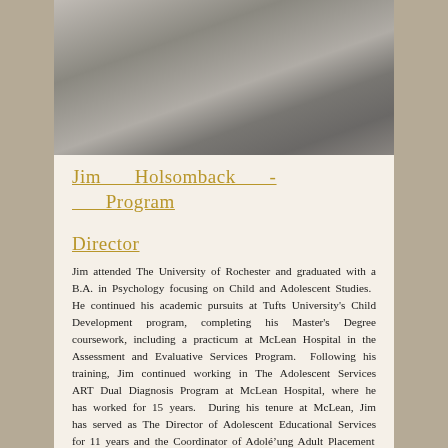[Figure (photo): Black and white close-up portrait photo of a person, blurred/soft focus]
Jim Holsomback - Program Director
Jim attended The University of Rochester and graduated with a B.A. in Psychology focusing on Child and Adolescent Studies. He continued his academic pursuits at Tufts University's Child Development program, completing his Master's Degree coursework, including a practicum at McLean Hospital in the Assessment and Evaluative Services Program. Following his training, Jim continued working in The Adolescent Services ART Dual Diagnosis Program at McLean Hospital, where he has worked for 15 years. During his tenure at McLean, Jim has served as The Director of Adolescent Educational Services for 11 years and the Coordinator of Adole…ung Adult Placement